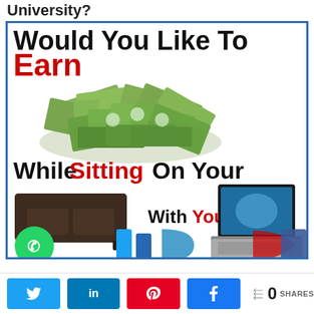University?
[Figure (infographic): Promotional infographic with text 'Would You Like To Earn While Sitting On Your [couch] With Your [laptop]' with images of a pile of money, a sofa, and a laptop, plus partially visible social media icons at bottom of infographic.]
Share buttons: Twitter, LinkedIn, Pinterest, Facebook — 0 SHARES